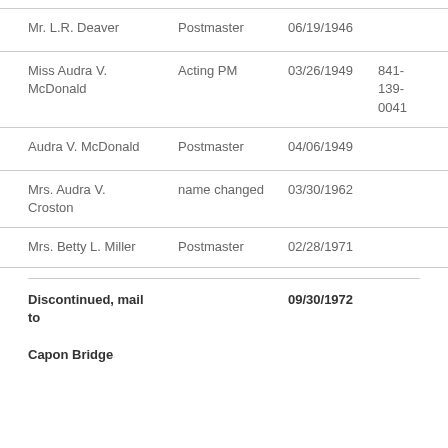| Name | Role | Date | Code |
| --- | --- | --- | --- |
| Mr. L.R. Deaver | Postmaster | 06/19/1946 |  |
| Miss Audra V. McDonald | Acting PM | 03/26/1949 | 841-139-0041 |
| Audra V. McDonald | Postmaster | 04/06/1949 |  |
| Mrs. Audra V. Croston | name changed | 03/30/1962 |  |
| Mrs. Betty L. Miller | Postmaster | 02/28/1971 |  |
| Discontinued, mail to |  | 09/30/1972 |  |
| Capon Bridge |  |  |  |